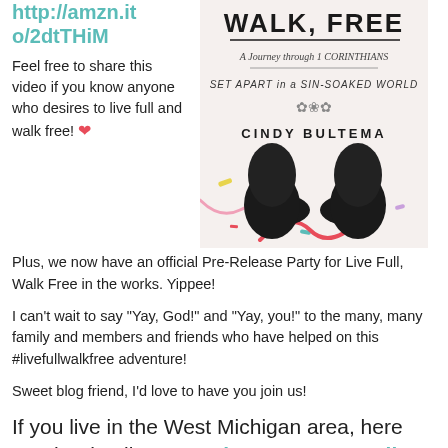http://amzn.to/2dtTHiM
[Figure (photo): Book cover of 'Live Full Walk Free: A Journey through 1 Corinthians, Set Apart in a Sin-Soaked World' by Cindy Bultema. Shows feet in black shoes standing on confetti-covered ground.]
Feel free to share this video if you know anyone who desires to live full and walk free! ❤
Plus, we now have an official Pre-Release Party for Live Full, Walk Free in the works. Yippee!
I can't wait to say "Yay, God!" and "Yay, you!" to the many, many family and members and friends who have helped on this #livefullwalkfree adventure!
Sweet blog friend, I'd love to have you join us!
If you live in the West Michigan area, here are the details: Pre-Release Party Details